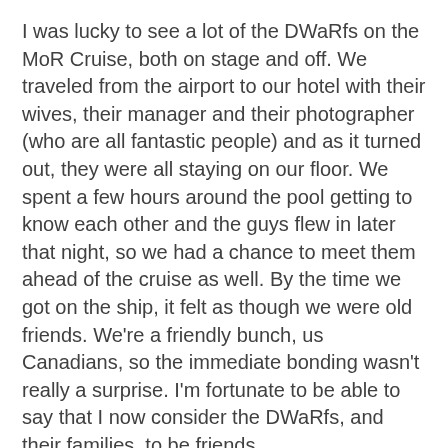I was lucky to see a lot of the DWaRfs on the MoR Cruise, both on stage and off. We traveled from the airport to our hotel with their wives, their manager and their photographer (who are all fantastic people) and as it turned out, they were all staying on our floor. We spent a few hours around the pool getting to know each other and the guys flew in later that night, so we had a chance to meet them ahead of the cruise as well. By the time we got on the ship, it felt as though we were old friends. We're a friendly bunch, us Canadians, so the immediate bonding wasn't really a surprise. I'm fortunate to be able to say that I now consider the DWaRfs, and their families, to be friends.
My usual partner in crime, Victoria, was otherwise engaged tonight, but there is never a shortage of fans eager to go to a DWaRf's show, so I knew I wouldn't be alone. Tonight, I'm accompanied by my friends Rob and Craig. We're meeting some more friends at Club Absinthe in Hamilton, Ontario, where tonight's show takes place. I'm excited for both guys to see the show. Craig is an enormous fan and has been for three decades, but Rob has never seen them. They are both in for a treat.